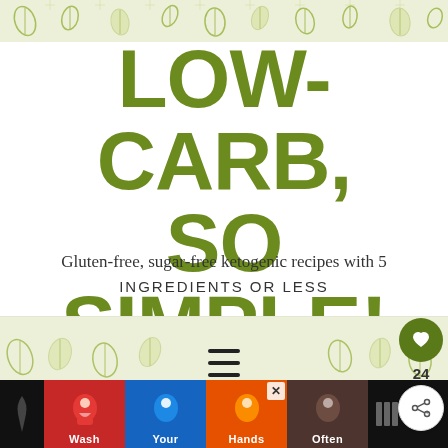LOW-CARB, SO SIMPLE! — decorative leaf banner header
LOW-CARB, SO SIMPLE!
Gluten-free, sugar-free ketogenic recipes with 5 INGREDIENTS OR LESS
[Figure (illustration): Decorative middle banner with olive/green leaf pattern illustration and hamburger menu icon]
[Figure (illustration): Social buttons: heart icon with count 24 and share icon]
GUEST POST: STRAWBERRY CHEESECAKE FAT BOMBS
[Figure (illustration): Ad banner at bottom showing Wash Your Hands Often public health advertisement with colorful hand icons in red, blue, orange, and brown segments]